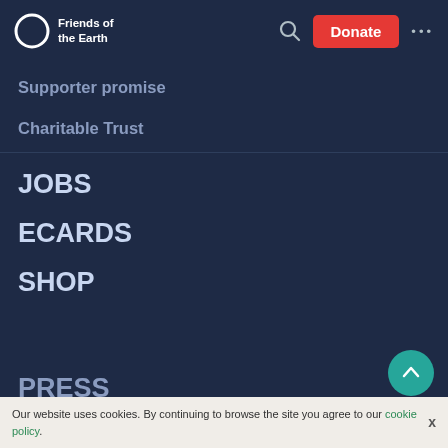Friends of the Earth — Navigation header with logo, search, Donate button, and menu dots
Supporter promise
Charitable Trust
JOBS
ECARDS
SHOP
PRESS
Our website uses cookies. By continuing to browse the site you agree to our cookie policy.